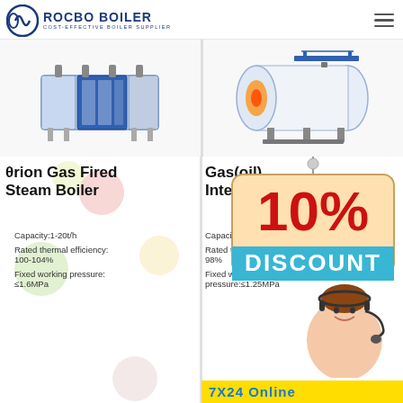ROCBO BOILER — COST-EFFECTIVE BOILER SUPPLIER
[Figure (photo): θrion Gas Fired Steam Boiler — blue and white industrial boiler unit]
[Figure (photo): Gas(oil) Fired Integrated boiler — white horizontal cylindrical industrial boiler]
θrion Gas Fired Steam Boiler
Capacity:1-20t/h
Rated thermal efficiency: 100-104%
Fixed working pressure: ≤1.6MPa
Gas(oil) Integrated
Capacity:0.7-...
Rated thermal efficiency: 98%
Fixed working pressure:≤1.25MPa
[Figure (infographic): 10% DISCOUNT promotional sign]
[Figure (photo): Customer service representative with headset]
7X24 Online